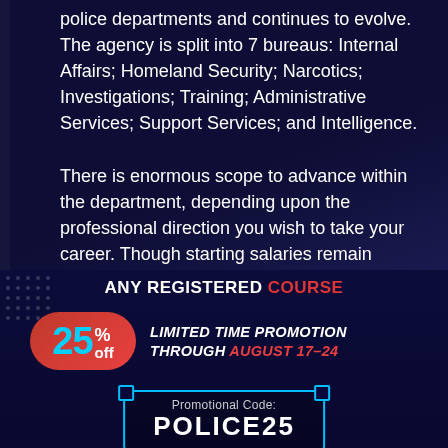police departments and continues to evolve. The agency is split into 7 bureaus: Internal Affairs; Homeland Security; Narcotics; Investigations; Training; Administrative Services; Support Services; and Intelligence.

There is enormous scope to advance within the department, depending upon the professional direction you wish to take your career. Though starting salaries remain modest, after 5-years at the agency you can expect to earn $51,592. Competition for places in the academy remain
ANY REGISTERED COURSE
25% off LIMITED TIME PROMOTION THROUGH AUGUST 17-24
Promotional Code: POLICE25